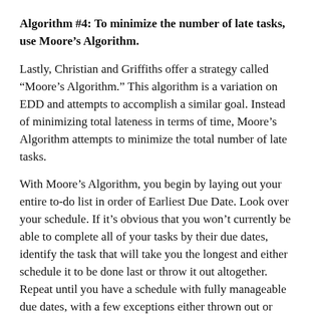Algorithm #4: To minimize the number of late tasks, use Moore's Algorithm.
Lastly, Christian and Griffiths offer a strategy called “Moore’s Algorithm.” This algorithm is a variation on EDD and attempts to accomplish a similar goal. Instead of minimizing total lateness in terms of time, Moore’s Algorithm attempts to minimize the total number of late tasks.
With Moore’s Algorithm, you begin by laying out your entire to-do list in order of Earliest Due Date. Look over your schedule. If it’s obvious that you won’t currently be able to complete all of your tasks by their due dates, identify the task that will take you the longest and either schedule it to be done last or throw it out altogether. Repeat until you have a schedule with fully manageable due dates, with a few exceptions either thrown out or collected at the end.
Christian and Griffiths explain that this algorithm has